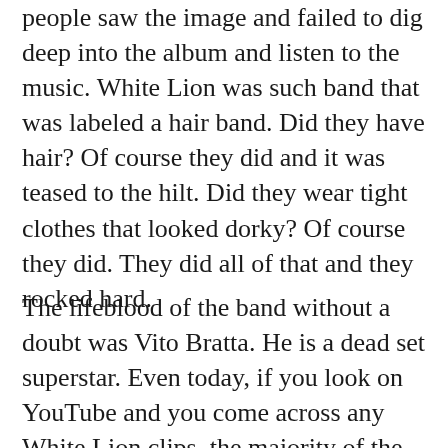people saw the image and failed to dig deep into the album and listen to the music. White Lion was such band that was labeled a hair band. Did they have hair? Of course they did and it was teased to the hilt. Did they wear tight clothes that looked dorky? Of course they did. They did all of that and they rocked hard.
The lifeblood of the band without a doubt was Vito Bratta. He is a dead set superstar. Even today, if you look on YouTube and you come across any White Lion clips, the majority of the comments are about Vito Bratta. Mike Tramp gets a